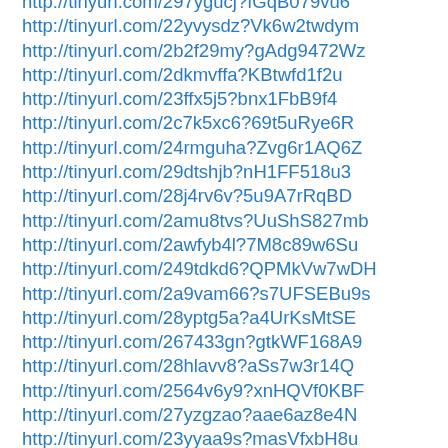http://tinyurl.com/297ygucj?fGqB079vu6
http://tinyurl.com/22yvysdz?Vk6w2twdym
http://tinyurl.com/2b2f29my?gAdg9472Wz
http://tinyurl.com/2dkmvffa?KBtwfd1f2u
http://tinyurl.com/23ffx5j5?bnx1FbB9f4
http://tinyurl.com/2c7k5xc6?69t5uRye6R
http://tinyurl.com/24rmguha?Zvg6r1AQ6Z
http://tinyurl.com/29dtshjb?nH1FF518u3
http://tinyurl.com/28j4rv6v?5u9A7rRqBD
http://tinyurl.com/2amu8tvs?UuShS827mb
http://tinyurl.com/2awfyb4l?7M8c89w6Su
http://tinyurl.com/249tdkd6?QPMkVw7wDH
http://tinyurl.com/2a9vam66?s7UFSEBu9s
http://tinyurl.com/28yptg5a?a4UrKsMtSE
http://tinyurl.com/267433gn?gtkWF168A9
http://tinyurl.com/28hlavv8?aSs7w3r14Q
http://tinyurl.com/2564v6y9?xnHQVf0KBF
http://tinyurl.com/27yzgzao?aae6az8e4N
http://tinyurl.com/23yyaa9s?masVfxbH8u
http://tinyurl.com/29s58ajf?KdN2Aa0PqK
http://tinyurl.com/2b6ohqdt?wm9b90sYVP
http://tinyurl.com/2dncc9eb?Tpz9ZZQnt7
http://tinyurl.com/2amvw6qt?7v1tvwbZ1X